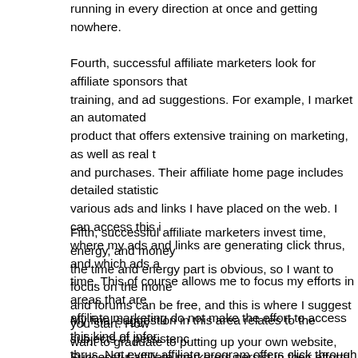running in every direction at once and getting nowhere.
Fourth, successful affiliate marketers look for affiliate sponsors that training, and ad suggestions. For example, I market an automated product that offers extensive training on marketing, as well as real t and purchases. Their affiliate home page includes detailed statistic various ads and links I have placed on the web. I can access this i where my ads and links are generating click thrus, and which ads a time. This of course allows me to focus my efforts in areas that are affiliate marketing do not make the effort to access this kind of infor thrus. Not every affiliate program offers click through statistics, but
Fifth, successful affiliate marketers invest time, energy, and money the time and energy part is obvious, so I want to focus on the mone and forums can be free, and this is where I suggest you start. How want to graduate to putting up your own website, placing solo ads i click ads. When you choose to go this route, please download some Scribd, read the articles in this blog, or watch some videos availabl this article.
My final suggestion in this area relates to the subjects of persistenc Successful affiliate marketers persist in their efforts to market their quit just short of the prize. Also, to be successful you will have to p patient. Patience does not mean standing by in idle mode while yo patience means keep working the proven techniques of getting you where shoppers can find it.